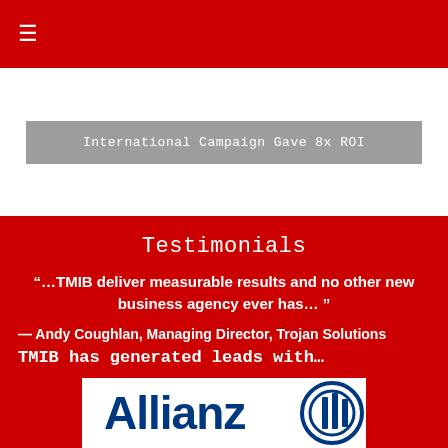☰
International Campaign Gave 8x ROI
Testimonials
“…TMIB deliver measurable results and no other new business agency ever has… ”
— Andy Coughlan, Managing Director, Trojan Solutions
TMIB has generated leads with…
[Figure (logo): Allianz logo — blue text 'Allianz' with the Allianz eagle/circle symbol on a white background]